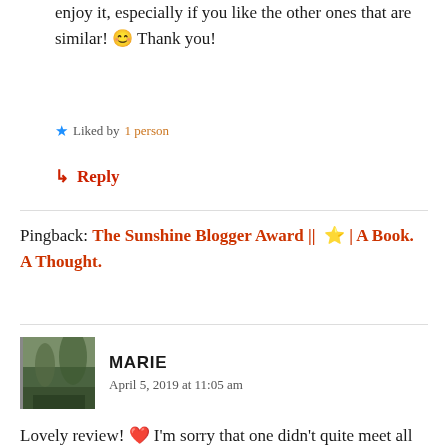enjoy it, especially if you like the other ones that are similar! 😊 Thank you!
★ Liked by 1 person
↳ Reply
Pingback: The Sunshine Blogger Award || ⭐ | A Book. A Thought.
MARIE
April 5, 2019 at 11:05 am
Lovely review! ❤ I'm sorry that one didn't quite meet all of your expectations. I recently read it and I really liked these characters, I'm sorry you couldn't quite connect with them! I hope your next read will be better ❤